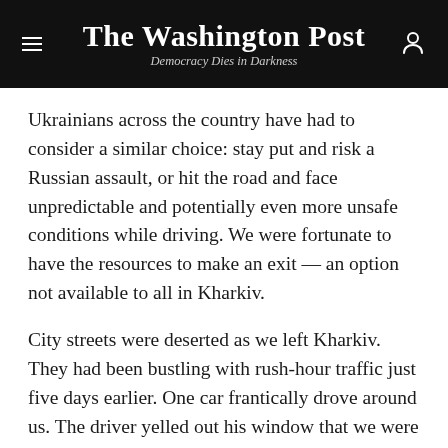The Washington Post — Democracy Dies in Darkness
Ukrainians across the country have had to consider a similar choice: stay put and risk a Russian assault, or hit the road and face unpredictable and potentially even more unsafe conditions while driving. We were fortunate to have the resources to make an exit — an option not available to all in Kharkiv.
City streets were deserted as we left Kharkiv. They had been bustling with rush-hour traffic just five days earlier. One car frantically drove around us. The driver yelled out his window that we were going too slow. Artillery strikes could still be heard in the distance. But we had grown used to that sound after four days of